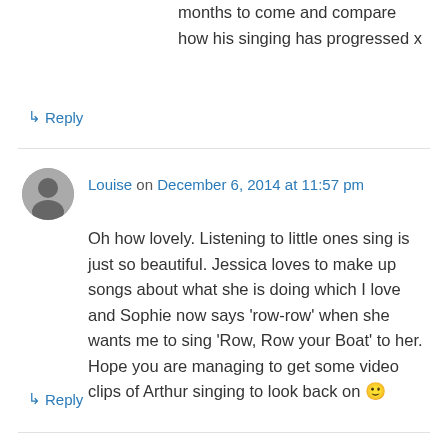months to come and compare how his singing has progressed x
↳ Reply
Louise on December 6, 2014 at 11:57 pm
Oh how lovely. Listening to little ones sing is just so beautiful. Jessica loves to make up songs about what she is doing which I love and Sophie now says 'row-row' when she wants me to sing 'Row, Row your Boat' to her. Hope you are managing to get some video clips of Arthur singing to look back on 🙂
↳ Reply